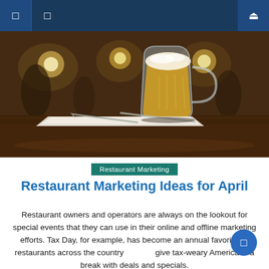Navigation bar with menu icons and search
[Figure (photo): Restaurant interior scene with a large glass beer mug on a wooden table, silverware and napkin in foreground, blurred warm-lit dining room in background]
Restaurant Marketing
Restaurant Marketing Ideas for April
Restaurant owners and operators are always on the lookout for special events that they can use in their online and offline marketing efforts. Tax Day, for example, has become an annual favorite as restaurants across the country to give tax-weary Americans a break with deals and specials.